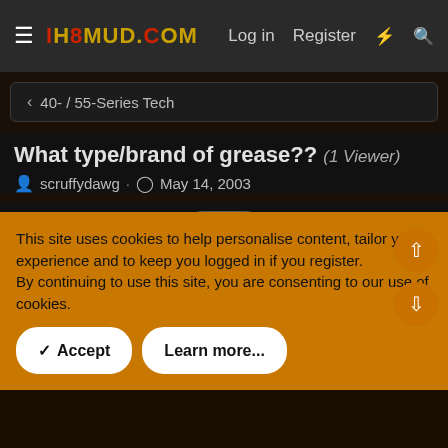IH8MUD.COM — Log in  Register
40- / 55-Series Tech
What type/brand of grease?? (1 Viewer)
scruffydawg · May 14, 2003
scruffydawg
This site uses cookies to help personalise content, tailor your experience and to keep you logged in if you register.
By continuing to use this site, you are consenting to our use of cookies.